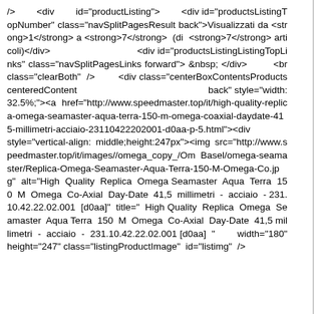/>        <div        id="productListing">        <div id="productsListingTopNumber" class="navSplitPagesResult back">Visualizzati da <strong>1</strong> a <strong>7</strong>  (di  <strong>7</strong>  articoli)</div>                                <div id="productsListingListingTopLinks" class="navSplitPagesLinks forward"> &nbsp; </div>        <br  class="clearBoth"  />        <div  class="centerBoxContentsProducts centeredContent                                                back" style="width:32.5%;"><a href="http://www.speedmaster.top/it/high-quality-replica-omega-seamaster-aqua-terra-150-m-omega-coaxial-daydate-415-millimetri-acciaio-23110422202001-d0aa-p-5.html"><div                style="vertical-align: middle;height:247px"><img src="http://www.speedmaster.top/it/images//omega_copy_/Om Basel/omega-seamaster/Replica-Omega-Seamaster-Aqua-Terra-150-M-Omega-Co.jpg"  alt="High  Quality  Replica  Omega Seamaster  Aqua  Terra  150  M  Omega  Co-Axial  Day-Date  41,5  millimetri  -  acciaio  - 231.10.42.22.02.001  [d0aa]"  title="  High Quality  Replica  Omega  Seamaster  Aqua Terra  150  M  Omega  Co-Axial  Day-Date  41,5 millimetri  -  acciaio  -  231.10.42.22.02.001 [d0aa]  "        width="180"        height="247" class="listingProductImage"  id="listimg"  />